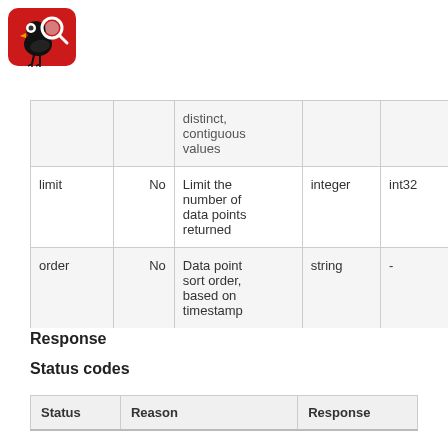[Figure (logo): Red bird with magnifying glass logo]
|  |  | distinct, contiguous values |  |  |
| --- | --- | --- | --- | --- |
| limit | No | Limit the number of data points returned | integer | int32 |
| order | No | Data point sort order, based on timestamp | string | - |
Response
Status codes
| Status | Reason | Response |
| --- | --- | --- |